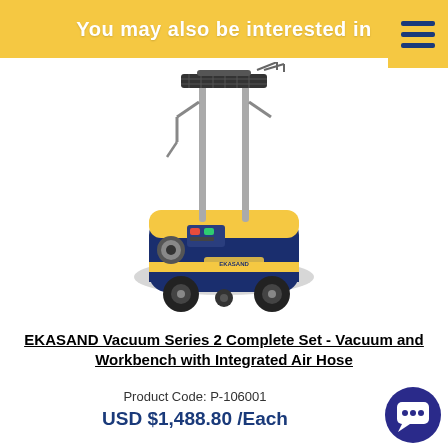You may also be interested in
[Figure (photo): EKASAND Vacuum Series 2 Complete Set product photo — a yellow and dark blue vacuum unit on wheels with two tall silver poles supporting an elevated black mesh workbench platform, with a wire hook rack attachment.]
EKASAND Vacuum Series 2 Complete Set - Vacuum and Workbench with Integrated Air Hose
Product Code: P-106001
USD $1,488.80 /Each